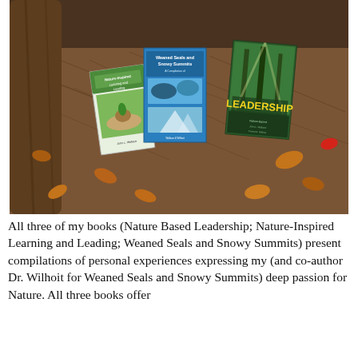[Figure (photo): Three books propped against the base of a large tree trunk surrounded by pine needles and fallen autumn leaves. Left book: 'Nature-Inspired Learning and Leading' with a cover showing hands holding a plant. Center book: 'Weaned Seals and Snowy Summits' with a blue cover showing wildlife and mountain scenes. Right book: 'Leadership' with a green forest cover.]
All three of my books (Nature Based Leadership; Nature-Inspired Learning and Leading; Weaned Seals and Snowy Summits) present compilations of personal experiences expressing my (and co-author Dr. Wilhoit for Weaned Seals and Snowy Summits) deep passion for Nature. All three books offer